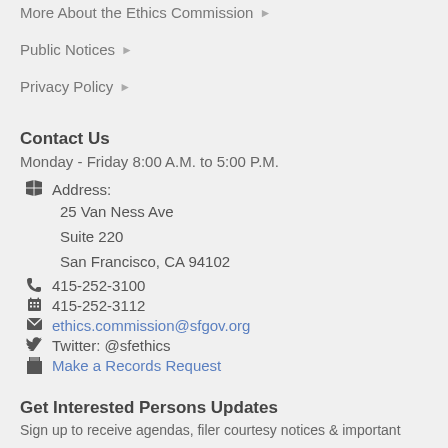More About the Ethics Commission ▶
Public Notices ▶
Privacy Policy ▶
Contact Us
Monday - Friday 8:00 A.M. to 5:00 P.M.
Address:
25 Van Ness Ave
Suite 220
San Francisco, CA 94102
415-252-3100
415-252-3112
ethics.commission@sfgov.org
Twitter: @sfethics
Make a Records Request
Get Interested Persons Updates
Sign up to receive agendas, filer courtesy notices & important